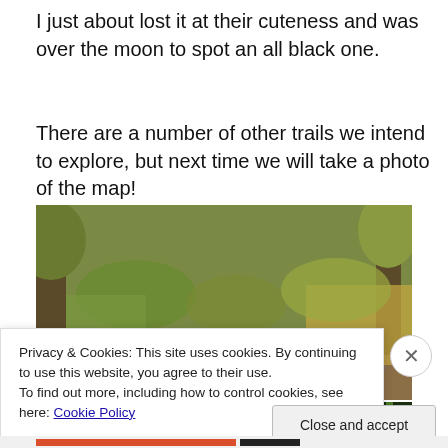I just about lost it at their cuteness and was over the moon to spot an all black one.
There are a number of other trails we intend to explore, but next time we will take a photo of the map!
[Figure (photo): Outdoor nature photo showing a small rocky creek or stream bed with trees, shrubs, and dry golden grasses along the banks]
[Figure (photo): Bottom-left partial photo showing dark tree canopy and foliage]
[Figure (photo): Bottom-right partial photo showing green plant stems/reeds]
Privacy & Cookies: This site uses cookies. By continuing to use this website, you agree to their use.
To find out more, including how to control cookies, see here: Cookie Policy
Close and accept